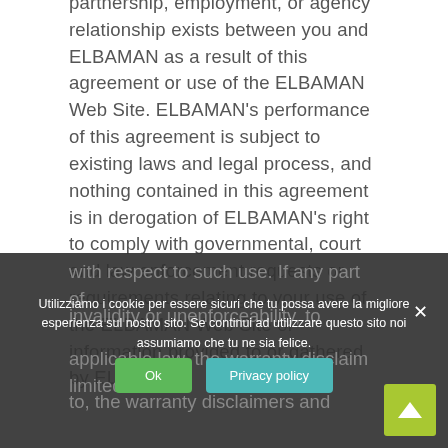partnership, employment, or agency relationship exists between you and ELBAMAN as a result of this agreement or use of the ELBAMAN Web Site. ELBAMAN's performance of this agreement is subject to existing laws and legal process, and nothing contained in this agreement is in derogation of ELBAMAN's right to comply with governmental, court and law enforcement requests or requirements relating to your use of the ELBAMAN Web Site or information provided to or gathered by ELBAMAN with respect to such use. If any part of applicable law, the warranty disclaimers and limitations of liability... to, the warranty disclaimers and...
Utilizziamo i cookie per essere sicuri che tu possa avere la migliore esperienza sul nostro sito. Se continui ad utilizzare questo sito noi assumiamo che tu ne sia felice.